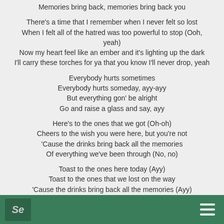Memories bring back, memories bring back you
There's a time that I remember when I never felt so lost
When I felt all of the hatred was too powerful to stop (Ooh, yeah)
Now my heart feel like an ember and it's lighting up the dark
I'll carry these torches for ya that you know I'll never drop, yeah
Everybody hurts sometimes
Everybody hurts someday, ayy-ayy
But everything gon' be alright
Go and raise a glass and say, ayy
Here's to the ones that we got (Oh-oh)
Cheers to the wish you were here, but you're not
'Cause the drinks bring back all the memories
Of everything we've been through (No, no)
Toast to the ones here today (Ayy)
Toast to the ones that we lost on the way
'Cause the drinks bring back all the memories (Ayy)
Se  ☰